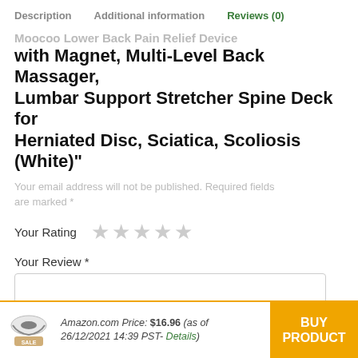Description   Additional information   Reviews (0)
Moocoo Lower Back Pain Relief Device with Magnet, Multi-Level Back Massager, Lumbar Support Stretcher Spine Deck for Herniated Disc, Sciatica, Scoliosis (White)"
Your email address will not be published. Required fields are marked *
Your Rating ★★★★★
Your Review *
Amazon.com Price: $16.96 (as of 26/12/2021 14:39 PST- Details)